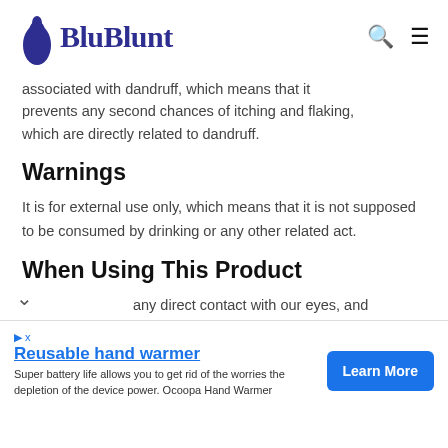BluBlunt
associated with dandruff, which means that it prevents any second chances of itching and flaking, which are directly related to dandruff.
Warnings
It is for external use only, which means that it is not supposed to be consumed by drinking or any other related act.
When Using This Product
We should avoid any direct contact with our eyes, and if at all there is any contact then rinse our eyes
Reusable hand warmer
Super battery life allows you to get rid of the worries the depletion of the device power. Ocoopa Hand Warmer